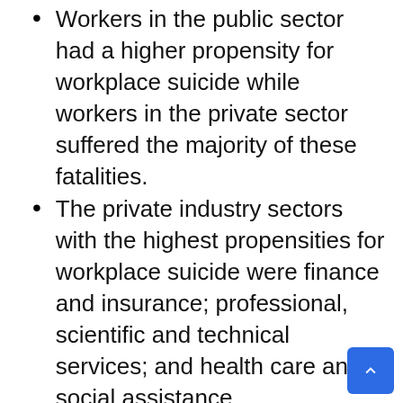Workers in the public sector had a higher propensity for workplace suicide while workers in the private sector suffered the majority of these fatalities.
The private industry sectors with the highest propensities for workplace suicide were finance and insurance; professional, scientific and technical services; and health care and social assistance.
Management occupations accounted for the highest share of workplace suicides, but legal occupations had the highest propensity.
First-line supervisors of retail-sales workers committed the second-most workplace suicides
Police and sheriff's patrol officers and